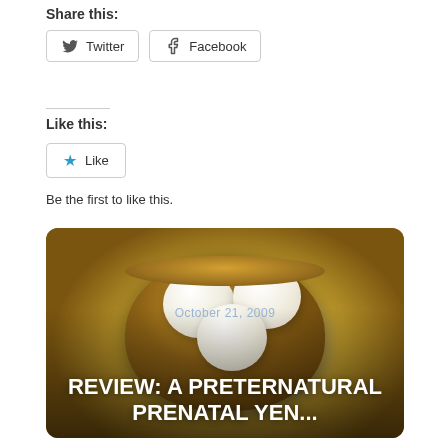Share this:
Twitter
Facebook
Like this:
Like
Be the first to like this.
[Figure (photo): A bamboo dim sum steamer basket containing three white steamed buns (baozi), photographed from above at an angle. Text overlay reads 'October 21, 2009' in light blue and 'REVIEW: A PRETERNATURAL PRENATAL YEN...' in large white bold letters.]